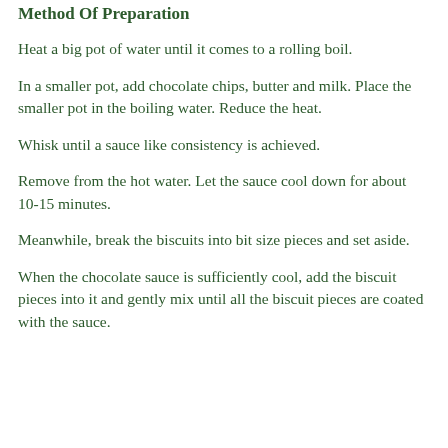Method Of Preparation
Heat a big pot of water until it comes to a rolling boil.
In a smaller pot, add chocolate chips, butter and milk. Place the smaller pot in the boiling water. Reduce the heat.
Whisk until a sauce like consistency is achieved.
Remove from the hot water. Let the sauce cool down for about 10-15 minutes.
Meanwhile, break the biscuits into bit size pieces and set aside.
When the chocolate sauce is sufficiently cool, add the biscuit pieces into it and gently mix until all the biscuit pieces are coated with the sauce.